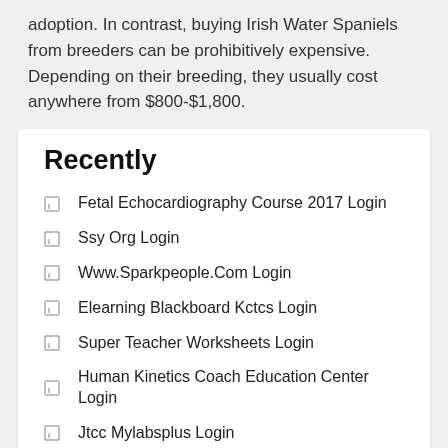adoption. In contrast, buying Irish Water Spaniels from breeders can be prohibitively expensive. Depending on their breeding, they usually cost anywhere from $800-$1,800.
Recently
Fetal Echocardiography Course 2017 Login
Ssy Org Login
Www.Sparkpeople.Com Login
Elearning Blackboard Kctcs Login
Super Teacher Worksheets Login
Human Kinetics Coach Education Center Login
Jtcc Mylabsplus Login
Insightvisa Com Login
Span Ptkin Login Siswa
Accessni Piwebservices Com Login